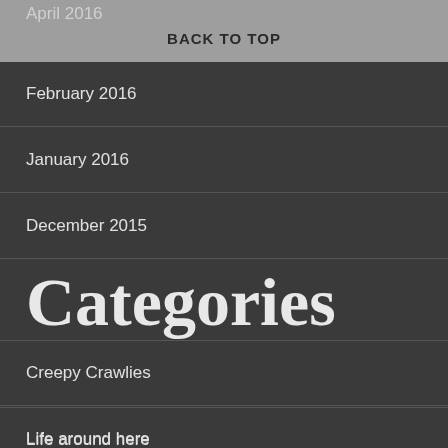April 2016
BACK TO TOP
February 2016
January 2016
December 2015
Categories
Creepy Crawlies
Life around here
Ministry
Nature Notes